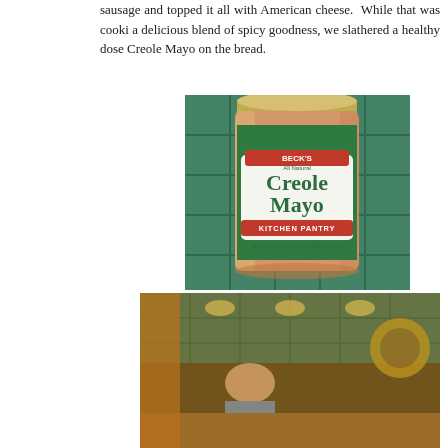sausage and topped it all with American cheese. While that was cooking a delicious blend of spicy goodness, we slathered a healthy dose Creole Mayo on the bread.
[Figure (photo): A jar of Beck's All Natural Creole Mayo Kitchen Pantry product — Sandwich Spread, Salad Mixer & Dip]
[Figure (photo): A kitchen scene with warm lighting, green tile backsplash, a person sitting, and floral decorations]